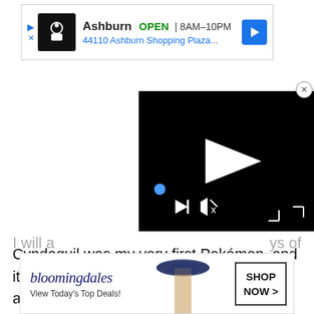[Figure (screenshot): Google Maps advertisement banner showing a restaurant location in Ashburn with OPEN status, hours 8AM-10PM, address 44110 Ashburn Shopping Plaza, with navigation icon]
[Figure (screenshot): Black video player with white play button triangle in center, blue dot, playback controls and speaker icon at bottom]
Cyndaquil was my very first Pokémon, and it's very near and dear to my heart. I almost put it at the top of the list because of that, but couldn't quite justify it. Cyndaquil is admittedly its weakest form in terms of appearance, and it sadly is far from a powerhouse, with an unfortunately spread out stat spread and meh movepool.
[Figure (screenshot): Bloomingdale's advertisement banner showing logo, 'View Today's Top Deals!' text, woman with wide-brim hat, and 'SHOP NOW >' button]
I will a... ys of